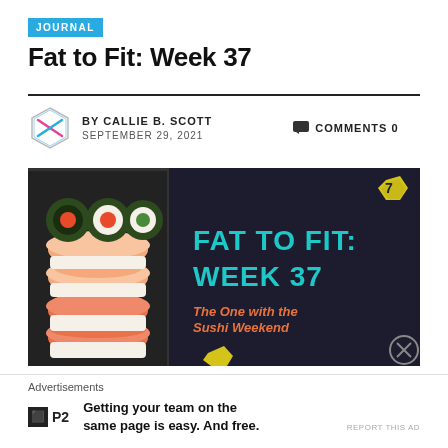JOURNAL
Fat to Fit: Week 37
BY CALLIE B. SCOTT  SEPTEMBER 29, 2021  COMMENTS 0
[Figure (photo): Hero image with sushi on left side and dark background on right. Text overlay reads 'FAT TO FIT: WEEK 37' in large teal letters, with subtitle 'The One with the Sushi Weekend' in orange. A yellow hexagon logo is visible in the top right.]
Advertisements
P2  Getting your team on the same page is easy. And free.